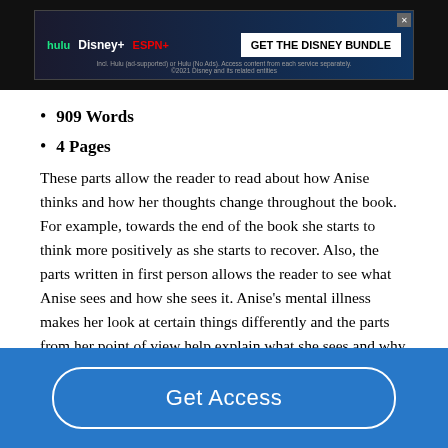[Figure (screenshot): Disney Bundle advertisement banner with Hulu, Disney+, and ESPN+ logos and 'GET THE DISNEY BUNDLE' call to action]
909 Words
4 Pages
These parts allow the reader to read about how Anise thinks and how her thoughts change throughout the book. For example, towards the end of the book she starts to think more positively as she starts to recover. Also, the parts written in first person allows the reader to see what Anise sees and how she sees it. Anise's mental illness makes her look at certain things differently and the parts from her point of view help explain what she sees and why she makes her decisions. Thirdly, some of Gravity Journal is written in third person….
Get Access